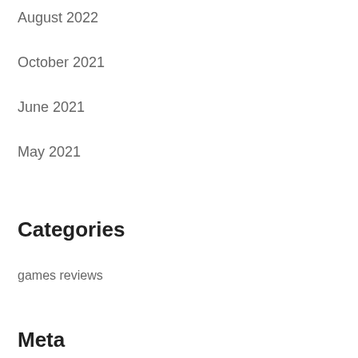August 2022
October 2021
June 2021
May 2021
Categories
games reviews
Meta